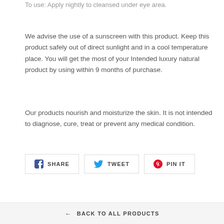To use: Apply nightly to cleansed under eye area.
We advise the use of a sunscreen with this product. Keep this product safely out of direct sunlight and in a cool temperature place. You will get the most of your Intended luxury natural product by using within 9 months of purchase.
Our products nourish and moisturize the skin. It is not intended to diagnose, cure, treat or prevent any medical condition.
SHARE   TWEET   PIN IT
← BACK TO ALL PRODUCTS